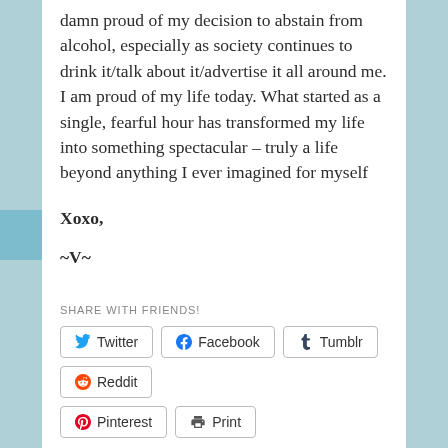damn proud of my decision to abstain from alcohol, especially as society continues to drink it/talk about it/advertise it all around me. I am proud of my life today. What started as a single, fearful hour has transformed my life into something spectacular – truly a life beyond anything I ever imagined for myself
Xoxo,
~V~
SHARE WITH FRIENDS!
Twitter  Facebook  Tumblr  Reddit  Pinterest  Print
Loading...